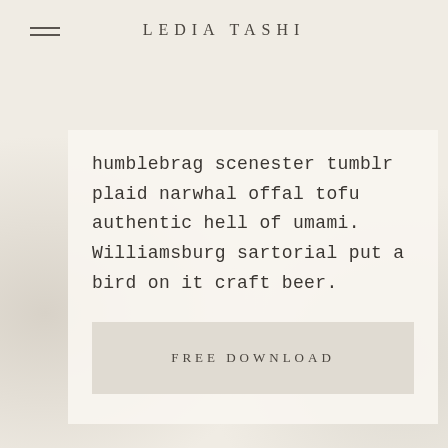LEDIA TASHI
humblebrag scenester tumblr plaid narwhal offal tofu authentic hell of umami. Williamsburg sartorial put a bird on it craft beer.
FREE DOWNLOAD